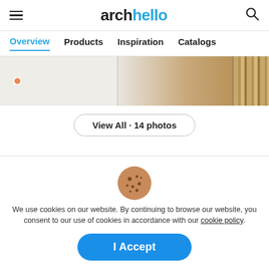archello
Overview  Products  Inspiration  Catalogs
[Figure (photo): Photo strip showing interior design images: neutral cabinet panels, wood detail, and brick wall texture]
View All · 14 photos
Bathco Videos
[Figure (illustration): Cookie emoji illustration]
We use cookies on our website. By continuing to browse our website, you consent to our use of cookies in accordance with our cookie policy.
I Accept